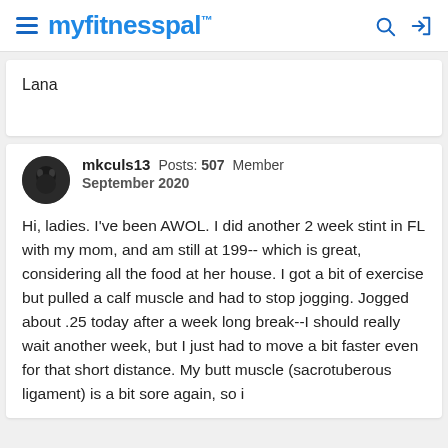myfitnesspal
Lana
mkculs13  Posts: 507  Member
September 2020
Hi, ladies. I've been AWOL. I did another 2 week stint in FL with my mom, and am still at 199-- which is great, considering all the food at her house. I got a bit of exercise but pulled a calf muscle and had to stop jogging. Jogged about .25 today after a week long break--I should really wait another week, but I just had to move a bit faster even for that short distance. My butt muscle (sacrotuberous ligament) is a bit sore again, so i